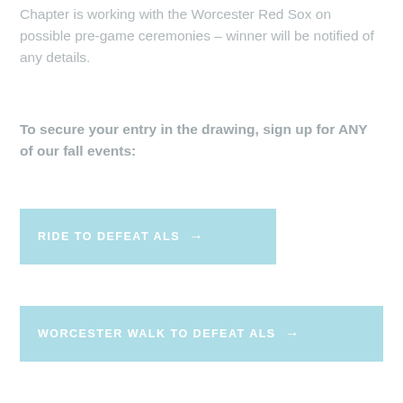Chapter is working with the Worcester Red Sox on possible pre-game ceremonies – winner will be notified of any details.
To secure your entry in the drawing, sign up for ANY of our fall events:
[Figure (other): Light blue button with white uppercase text: RIDE TO DEFEAT ALS with arrow]
[Figure (other): Light blue button with white uppercase text: WORCESTER WALK TO DEFEAT ALS with arrow]